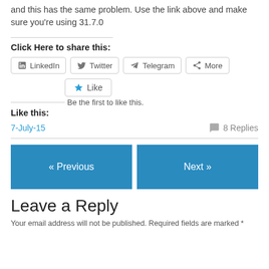and this has the same problem. Use the link above and make sure you're using 31.7.0
Click Here to share this:
LinkedIn  Twitter  Telegram  More
Like
Be the first to like this.
Like this:
7-July-15
8 Replies
« Previous
Next »
Leave a Reply
Your email address will not be published. Required fields are marked *